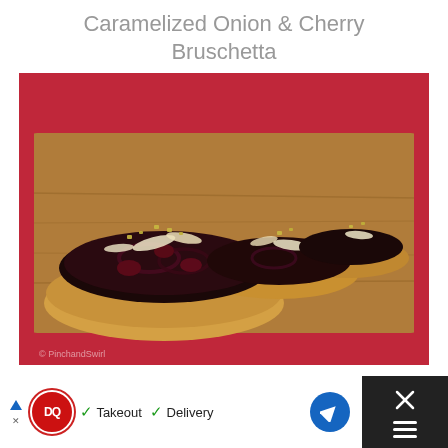Caramelized Onion & Cherry Bruschetta
[Figure (photo): Photo of caramelized onion and cherry bruschetta pieces arranged on a wooden cutting board, topped with dark caramelized onions, dried cherries, shaved parmesan and chopped pistachios, with a red tablecloth in the background.]
[Figure (other): Dairy Queen advertisement banner showing DQ logo, checkmarks for Takeout and Delivery options, a blue navigation arrow button, and an X close button on dark background.]